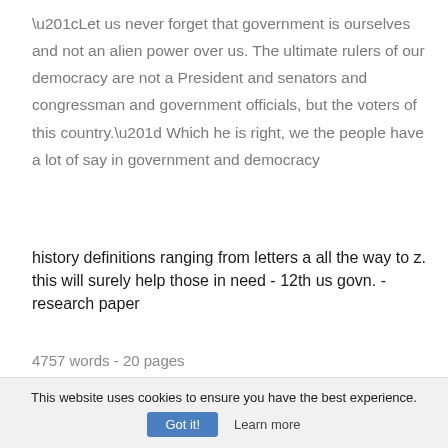“Let us never forget that government is ourselves and not an alien power over us. The ultimate rulers of our democracy are not a President and senators and congressman and government officials, but the voters of this country.” Which he is right, we the people have a lot of say in government and democracy
history definitions ranging from letters a all the way to z. this will surely help those in need - 12th us govn. - research paper
4757 words - 20 pages
This website uses cookies to ensure you have the best experience.